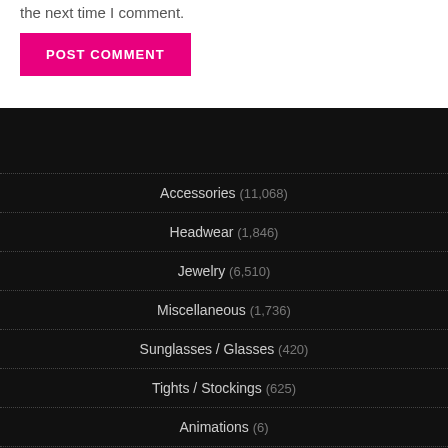the next time I comment.
POST COMMENT
Accessories (11,068)
Headwear (1,846)
Jewelry (6,510)
Miscellaneous (1,736)
Sunglasses / Glasses (420)
Tights / Stockings (625)
Animations (6)